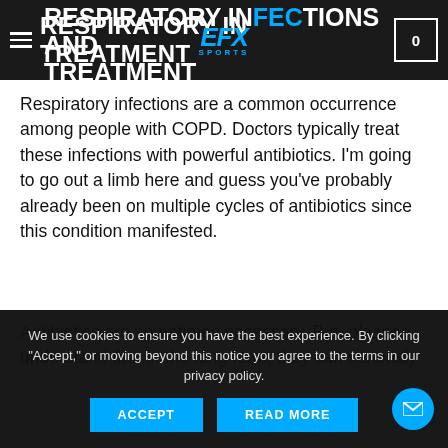RESPIRATORY INFECTIONS AND TREATMENT
Respiratory infections are a common occurrence among people with COPD. Doctors typically treat these infections with powerful antibiotics. I'm going to go out a limb here and guess you've probably already been on multiple cycles of antibiotics since this condition manifested.
Antibiotics are sometimes necessary. But, please understand that in the long term, they can seriously
We use cookies to ensure you have the best experience. By clicking "Accept," or moving beyond this notice you agree to the terms in our privacy policy.